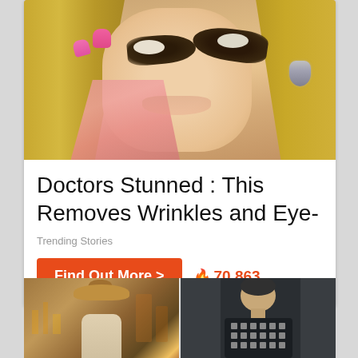[Figure (photo): Woman with dramatic dark sparkly eye makeup applied under both eyes, holding her face near her eye with pink manicured fingernails, wearing a dangling earring]
Doctors Stunned : This Removes Wrinkles and Eye-
Trending Stories
Find Out More >
🔥70,863
[Figure (photo): Man wearing a sombrero hat in a colorful setting]
[Figure (photo): Man wearing a dark t-shirt with a grid pattern of small icons]